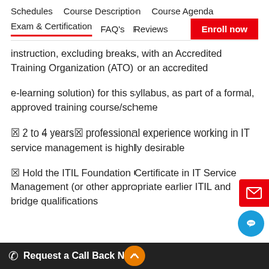Schedules   Course Description   Course Agenda
Exam & Certification   FAQ's   Reviews   Enroll now
instruction, excluding breaks, with an Accredited Training Organization (ATO) or an accredited
e-learning solution) for this syllabus, as part of a formal, approved training course/scheme
▪ 2 to 4 years' professional experience working in IT service management is highly desirable
▪ Hold the ITIL Foundation Certificate in IT Service Management (or other appropriate earlier ITIL and bridge qualifications
Request a Call Back Now !